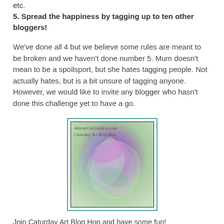etc.
5. Spread the happiness by tagging up to ten other bloggers!
We've done all 4 but we believe some rules are meant to be broken and we haven't done number 5. Mum doesn't mean to be a spoilsport, but she hates tagging people. Not actually hates, but is a bit unsure of tagging anyone. However, we would like to invite any blogger who hasn't done this challenge yet to have a go.
[Figure (photo): Image with teal border showing abstract swirling artwork in pink, purple, green and blue tones with text 'AthenaCatGoddess.com Caturday Art Blog Hop']
Join Caturday Art Blog Hop and have some fun!